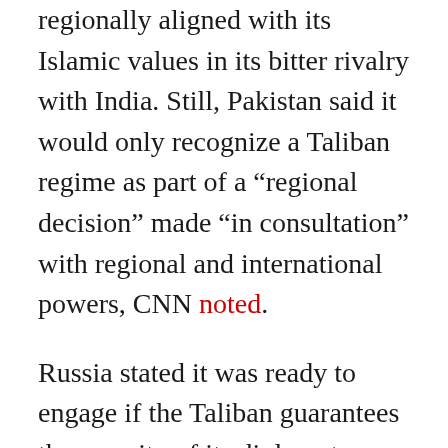regionally aligned with its Islamic values in its bitter rivalry with India. Still, Pakistan said it would only recognize a Taliban regime as part of a “regional decision” made “in consultation” with regional and international powers, CNN noted.
Russia stated it was ready to engage if the Taliban guarantees the security of its diplomats as well as prevent militants from launching assaults against other Central Asian allies such as Uzbekistan and